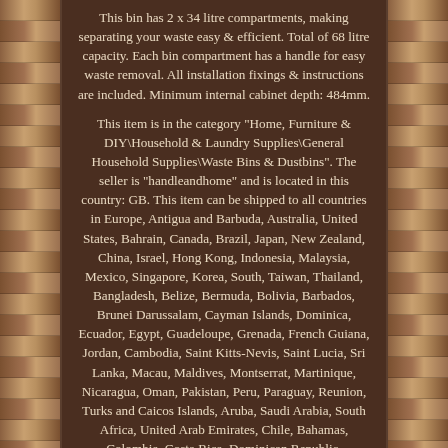This bin has 2 x 34 litre compartments, making separating your waste easy & efficient. Total of 68 litre capacity. Each bin compartment has a handle for easy waste removal. All installation fixings & instructions are included. Minimum internal cabinet depth: 484mm.
This item is in the category "Home, Furniture & DIY\Household & Laundry Supplies\General Household Supplies\Waste Bins & Dustbins". The seller is "handleandhome" and is located in this country: GB. This item can be shipped to all countries in Europe, Antigua and Barbuda, Australia, United States, Bahrain, Canada, Brazil, Japan, New Zealand, China, Israel, Hong Kong, Indonesia, Malaysia, Mexico, Singapore, Korea, South, Taiwan, Thailand, Bangladesh, Belize, Bermuda, Bolivia, Barbados, Brunei Darussalam, Cayman Islands, Dominica, Ecuador, Egypt, Guadeloupe, Grenada, French Guiana, Jordan, Cambodia, Saint Kitts-Nevis, Saint Lucia, Sri Lanka, Macau, Maldives, Montserrat, Martinique, Nicaragua, Oman, Pakistan, Peru, Paraguay, Reunion, Turks and Caicos Islands, Aruba, Saudi Arabia, South Africa, United Arab Emirates, Chile, Bahamas, Colombia, Costa Rica, Dominican Republic, Guatemala, Honduras, Jamaica, Kuwait, Panama, Philippines, Qatar, El Salvador, Trinidad and Tobago. Uruguay, Vietnam.
Features: Integrated Lid, Soft Close, Door Fixed, Side